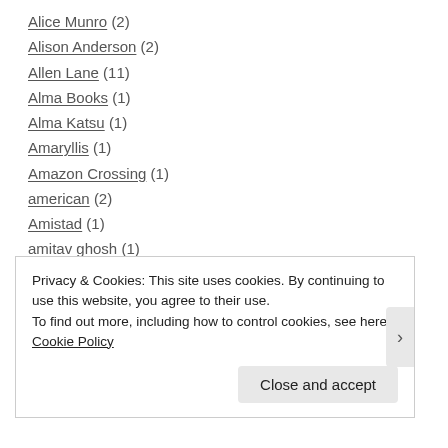Alice Munro (2)
Alison Anderson (2)
Allen Lane (11)
Alma Books (1)
Alma Katsu (1)
Amaryllis (1)
Amazon Crossing (1)
american (2)
Amistad (1)
amitav ghosh (1)
Amor Towles (1)
Amy Einhorn Books (4)
Anais Nin (1)
Privacy & Cookies: This site uses cookies. By continuing to use this website, you agree to their use.
To find out more, including how to control cookies, see here: Cookie Policy
Close and accept